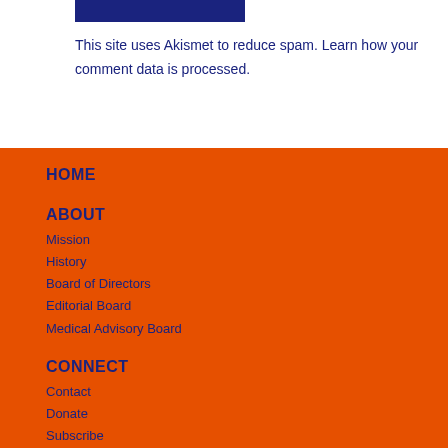[Figure (other): Dark navy blue button/banner element at top]
This site uses Akismet to reduce spam. Learn how your comment data is processed.
HOME
ABOUT
Mission
History
Board of Directors
Editorial Board
Medical Advisory Board
CONNECT
Contact
Donate
Subscribe
Write for WVFC
POPULAR THIS WEEK
Ask Dr. Pat: Does Vulvar Melanoma Always Look Like the Photos in the Textbooks?